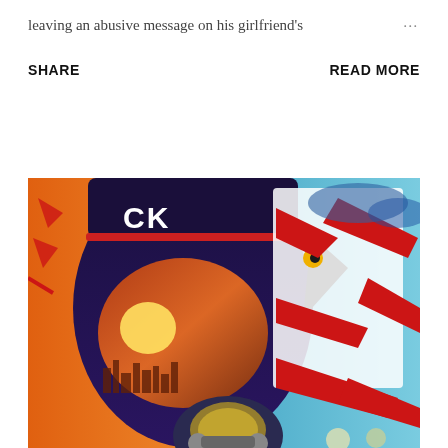leaving an abusive message on his girlfriend's …
SHARE                        READ MORE
[Figure (illustration): Colorful illustration showing a pilot or motorcyclist wearing a dark helmet with 'CK' lettering, with an orange sunset and city silhouette reflected in the visor on the left side, and a stylized eagle graphic with red accents on a blue/teal background on the right side. A secondary helmet is visible at the bottom center.]